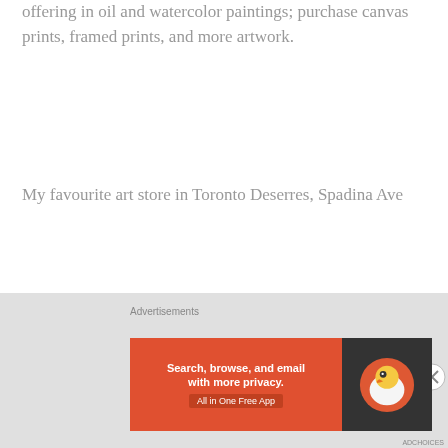offering in oil and watercolor paintings; purchase canvas prints, framed prints, and more artwork.
My favourite art store in Toronto Deserres, Spadina Ave
CONTACT ARTIST
Name (required)
[Figure (screenshot): Empty text input field for Name]
Email (required)
[Figure (screenshot): DuckDuckGo advertisement banner: Search, browse, and email with more privacy. All in One Free App]